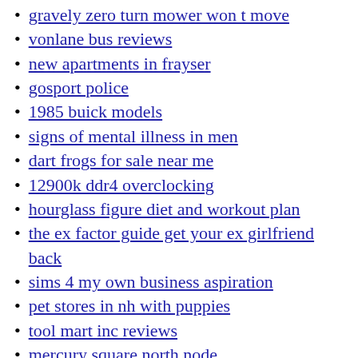gravely zero turn mower won t move
vonlane bus reviews
new apartments in frayser
gosport police
1985 buick models
signs of mental illness in men
dart frogs for sale near me
12900k ddr4 overclocking
hourglass figure diet and workout plan
the ex factor guide get your ex girlfriend back
sims 4 my own business aspiration
pet stores in nh with puppies
tool mart inc reviews
mercury square north node
july dynasty trade value chart
new verizon commercial 2022 actress
donkey for sale ky
kenmore microwave fuse size
best casinos in vegas
do mufflers make your car louder
shirlington library catalog
disney das pass ibs
funny jewish names
hereditary slavery law
best audiobook narrators